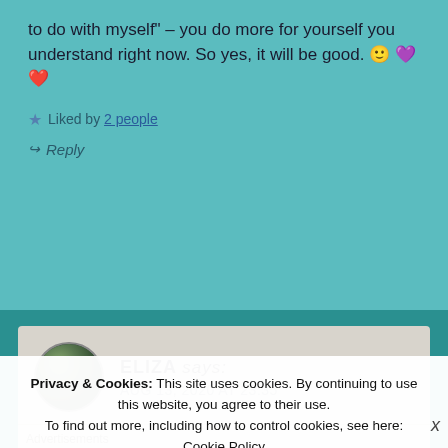to do with myself" – you do more for yourself you understand right now. So yes, it will be good. 🙂 💜 ❤️
★ Liked by 2 people
↪ Reply
ELIZA says: AUG 13, 2020 AT 23:35
Privacy & Cookies: This site uses cookies. By continuing to use this website, you agree to their use. To find out more, including how to control cookies, see here: Cookie Policy
Close and accept
Advertisements